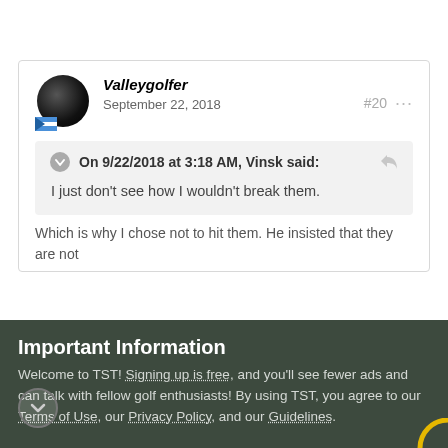[Figure (screenshot): Forum post by Valleygolfer dated September 22, 2018, post #20, quoting Vinsk who said 'I just don't see how I wouldn't break them.' followed by truncated reply text.]
Important Information
Welcome to TST! Signing up is free, and you'll see fewer ads and can talk with fellow golf enthusiasts! By using TST, you agree to our Terms of Use, our Privacy Policy, and our Guidelines.